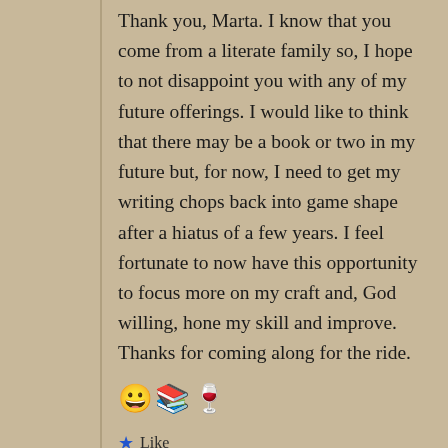Thank you, Marta. I know that you come from a literate family so, I hope to not disappoint you with any of my future offerings. I would like to think that there may be a book or two in my future but, for now, I need to get my writing chops back into game shape after a hiatus of a few years. I feel fortunate to now have this opportunity to focus more on my craft and, God willing, hone my skill and improve. Thanks for coming along for the ride. 😀📚🍷
⭐ Like
↪ Reply